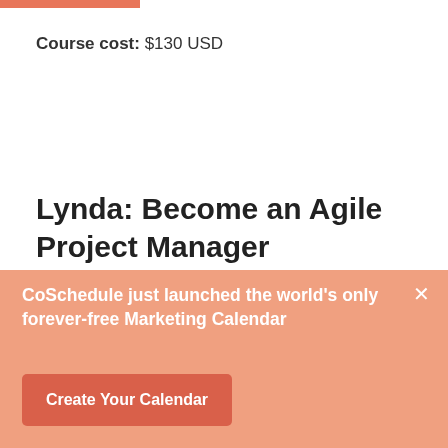Course cost: $130 USD
Lynda: Become an Agile Project Manager
This course teaches how you can deliver projects with higher levels of performance and quality using
CoSchedule just launched the world's only forever-free Marketing Calendar
Create Your Calendar